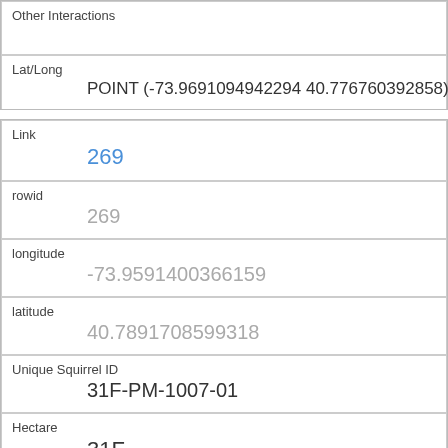| Other Interactions |  |
| Lat/Long | POINT (-73.9691094942294 40.776760392858) |
| Link | 269 |
| rowid | 269 |
| longitude | -73.9591400366159 |
| latitude | 40.7891708599318 |
| Unique Squirrel ID | 31F-PM-1007-01 |
| Hectare | 31F |
| Shift | PM |
| Date |  |